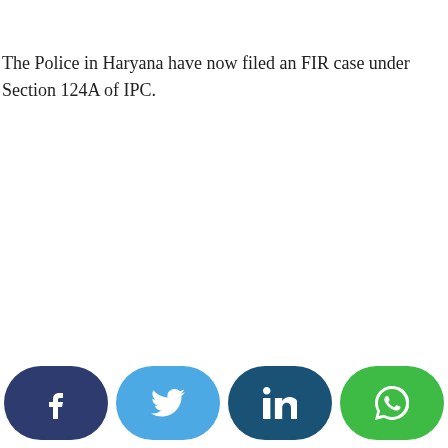The Police in Haryana have now filed an FIR case under Section 124A of IPC.
[Figure (infographic): Social media share buttons: Facebook, Twitter, LinkedIn, WhatsApp]